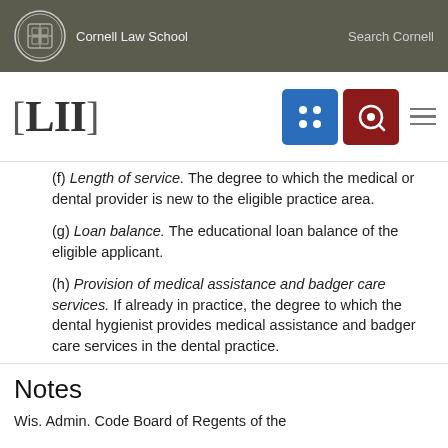Cornell Law School | Search Cornell
[Figure (logo): LII Legal Information Institute logo with navigation icons]
(f) Length of service. The degree to which the medical or dental provider is new to the eligible practice area.
(g) Loan balance. The educational loan balance of the eligible applicant.
(h) Provision of medical assistance and badger care services. If already in practice, the degree to which the dental hygienist provides medical assistance and badger care services in the dental practice.
Notes
Wis. Admin. Code Board of Regents of the